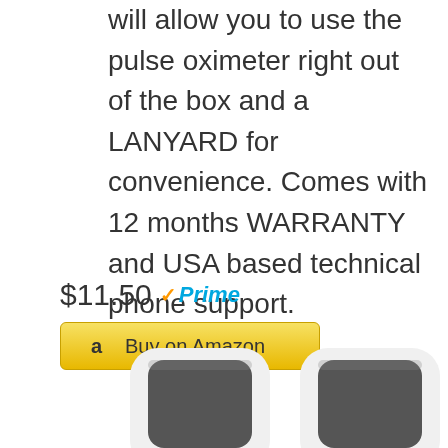will allow you to use the pulse oximeter right out of the box and a LANYARD for convenience. Comes with 12 months WARRANTY and USA based technical phone support.
$11.50 Prime
[Figure (screenshot): Buy on Amazon button with Amazon logo]
[Figure (photo): Two white pulse oximeter devices with dark screens, partially visible at bottom of page]